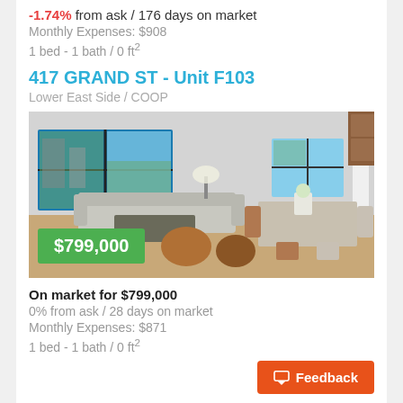-1.74% from ask / 176 days on market
Monthly Expenses: $908
1 bed - 1 bath / 0 ft²
417 GRAND ST - Unit F103
Lower East Side / COOP
[Figure (photo): Interior photo of a modern apartment living/dining room with gray sectional sofa, large black-framed windows with city views, dining table with chairs, and wood kitchen cabinets. Price badge showing $799,000 overlaid in green.]
On market for $799,000
0% from ask / 28 days on market
Monthly Expenses: $871
1 bed - 1 bath / 0 ft²